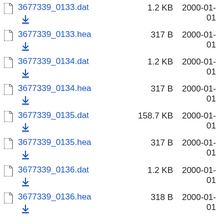3677339_0133.dat  1.2 KB  2000-01-01
3677339_0133.hea  317 B  2000-01-01
3677339_0134.dat  1.2 KB  2000-01-01
3677339_0134.hea  317 B  2000-01-01
3677339_0135.dat  158.7 KB  2000-01-01
3677339_0135.hea  317 B  2000-01-01
3677339_0136.dat  1.2 KB  2000-01-01
3677339_0136.hea  318 B  2000-01-01